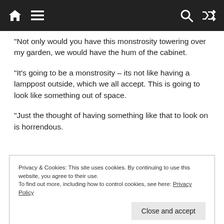[Navigation bar with home, menu, search, shuffle icons]
“Not only would you have this monstrosity towering over my garden, we would have the hum of the cabinet.
“It’s going to be a monstrosity – its not like having a lamppost outside, which we all accept. This is going to look like something out of space.
“Just the thought of having something like that to look on is horrendous.
Privacy & Cookies: This site uses cookies. By continuing to use this website, you agree to their use.
To find out more, including how to control cookies, see here: Privacy Policy
Close and accept
the installation of a new mast and existing sites